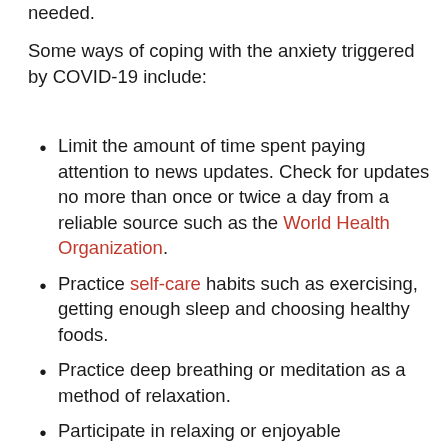needed.
Some ways of coping with the anxiety triggered by COVID-19 include:
Limit the amount of time spent paying attention to news updates. Check for updates no more than once or twice a day from a reliable source such as the World Health Organization.
Practice self-care habits such as exercising, getting enough sleep and choosing healthy foods.
Practice deep breathing or meditation as a method of relaxation.
Participate in relaxing or enjoyable